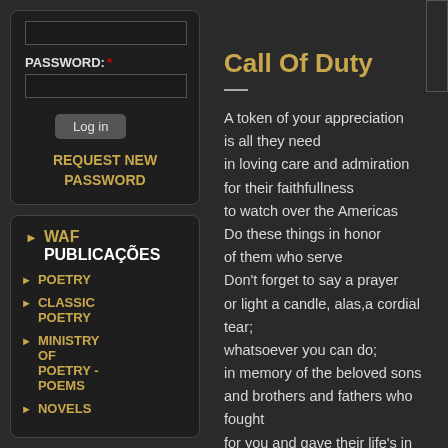[Figure (screenshot): Login form with password field and log in button]
PASSWORD: *
Log in
REQUEST NEW PASSWORD
WAF PUBLICAÇÕES
POETRY
CLASSIC POETRY
MINISTRY OF POETRY - POEMS
NOVELS
Call Of Duty
A token of your appreciation
is all they need
in loving care and admiration
for their faithfullness
to watch over the Americas
Do these things in honor
of them who serve
Don't forget to say a prayer
or light a candle, alas,a cordial tear;
whatsoever you can do;
in memory of the beloved sons
and brothers and fathers who fought
for you and gave their life's in battle.
Remember them of new and old wars,